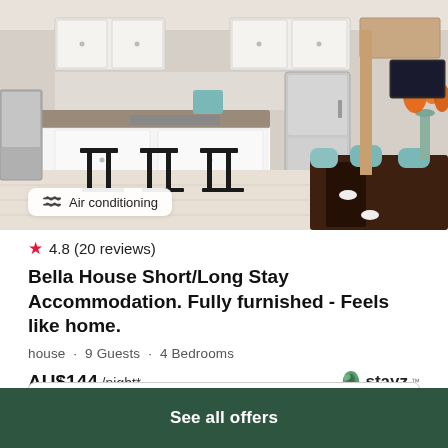[Figure (photo): Interior photo of a modern kitchen/dining area with white cabinetry, stainless steel refrigerator, a dark wooden dining table with teal chairs, orange lilies in a glass vase, and black bar stools. An 'Air conditioning' badge overlays the bottom-left of the image.]
4.8 (20 reviews)
Bella House Short/Long Stay Accommodation. Fully furnished - Feels like home.
house · 9 Guests · 4 Bedrooms
AU$144 /night*
[Figure (logo): Stayz logo with green leaf icon]
View deal
See all offers